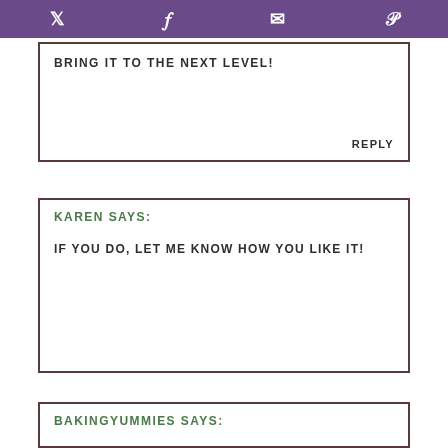[Twitter] [Facebook] [Email] [Pinterest]
BRING IT TO THE NEXT LEVEL!
REPLY
KAREN SAYS:
IF YOU DO, LET ME KNOW HOW YOU LIKE IT!
BAKINGYUMMIES SAYS: